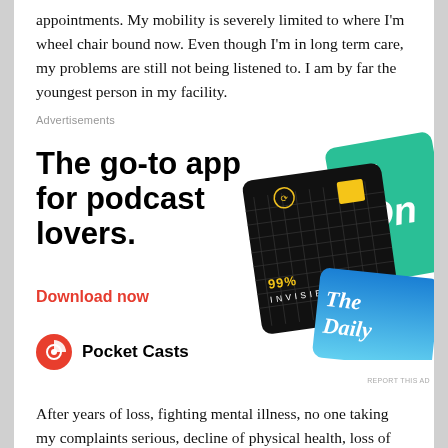appointments. My mobility is severely limited to where I'm wheel chair bound now. Even though I'm in long term care, my problems are still not being listened to. I am by far the youngest person in my facility.
Advertisements
[Figure (illustration): Pocket Casts podcast app advertisement. Large bold text reads 'The go-to app for podcast lovers.' with a red 'Download now' link. Shows podcast card illustrations including '99% Invisible' and 'The Daily'. Pocket Casts logo at bottom left.]
After years of loss, fighting mental illness, no one taking my complaints serious, decline of physical health, loss of friends, loss of career, and the general overall decline of the state of